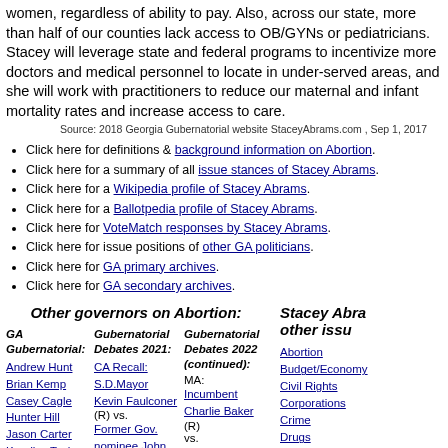women, regardless of ability to pay. Also, across our state, more than half of our counties lack access to OB/GYNs or pediatricians. Stacey will leverage state and federal programs to incentivize more doctors and medical personnel to locate in under-served areas, and she will work with practitioners to reduce our maternal and infant mortality rates and increase access to care.
Source: 2018 Georgia Gubernatorial website StaceyAbrams.com , Sep 1, 2017
Click here for definitions & background information on Abortion.
Click here for a summary of all issue stances of Stacey Abrams.
Click here for a Wikipedia profile of Stacey Abrams.
Click here for a Ballotpedia profile of Stacey Abrams.
Click here for VoteMatch responses by Stacey Abrams.
Click here for issue positions of other GA politicians.
Click here for GA primary archives.
Click here for GA secondary archives.
Other governors on Abortion:
Stacey Abrams on other issues:
| GA Gubernatorial: | Gubernatorial Debates 2021: | Gubernatorial Debates 2022 (continued): |
| --- | --- | --- |
| Andrew Hunt | CA Recall: | MA: Incumbent Charlie Baker(R) |
| Brian Kemp | S.D.Mayor | vs.Lt.Gov.Karyn Polito(R) |
| Casey Cagle | Kevin Faulconer(R) | vs.State Rep. Geoff Diehl(R) |
| Hunter Hill | vs.Former Gov. nominee John Cox(R) | vs.Harvard |
| Jason Carter | vs.Former U.S.Rep Doug Oso(R) |  |
| Kandiss Taylor |  |  |
| Keisha Lance |  |  |
Abortion
Budget/Economy
Civil Rights
Corporations
Crime
Drugs
Education
Energy/Oil
Environment